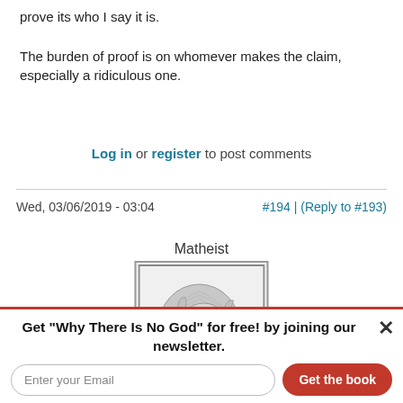prove its who I say it is.

The burden of proof is on whomever makes the claim, especially a ridiculous one.
Log in or register to post comments
Wed, 03/06/2019 - 03:04
#194 | (Reply to #193)
Matheist
[Figure (illustration): Lion head logo illustration in gray on white background with border]
Get "Why There Is No God" for free! by joining our newsletter.